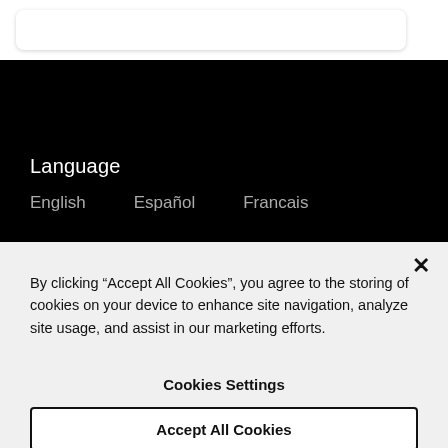[Figure (screenshot): Top white area with a rounded card/panel partially visible at the top of the page]
Language
English   Español   Francais
By clicking “Accept All Cookies”, you agree to the storing of cookies on your device to enhance site navigation, analyze site usage, and assist in our marketing efforts.
Cookies Settings
Accept All Cookies